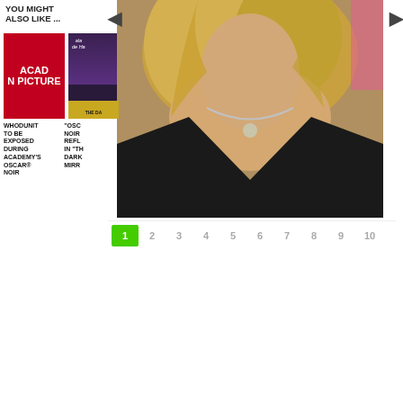YOU MIGHT ALSO LIKE ...
[Figure (photo): Red background thumbnail with text 'ACAD N PICTURE' (Academy pictures logo)]
[Figure (photo): Movie poster thumbnail for 'THE DA...' dark film poster]
WHODUNIT TO BE EXPOSED DURING ACADEMY'S OSCAR® NOIR
"OSC NOIR REFL IN "TH DARK MIRR
[Figure (photo): Main large photo of a blonde woman in a black halter dress with necklace]
1
2
3
4
5
6
7
8
9
10